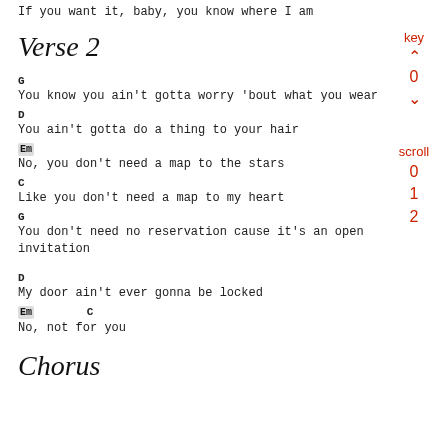If you want it, baby, you know where I am
Verse 2
G
You know you ain't gotta worry 'bout what you wear
D
You ain't gotta do a thing to your hair
Em
No, you don't need a map to the stars
C
Like you don't need a map to my heart
G
You don't need no reservation cause it's an open invitation
D
My door ain't ever gonna be locked
Em          C
No, not for you
Chorus